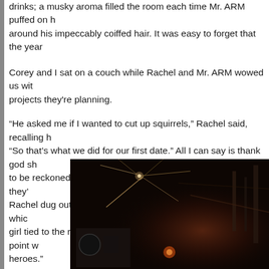drinks; a musky aroma filled the room each time Mr. ARM puffed on [his pipe] around his impeccably coiffed hair. It was easy to forget that the year [was…]
Corey and I sat on a couch while Rachel and Mr. ARM wowed us with [talk of] projects they're planning.
“He asked me if I wanted to cut up squirrels,” Rachel said, recalling h[ow they met.] “So that’s what we did for our first date.” All I can say is thank god sh[e said yes. They’re] to be reckoned with and, on top of curating a house of oddities, they’[re…] Rachel dug out a photo of them from last year’s Zombie Fest in whic[h she played a] girl tied to the railroad tracks. I think that might have been the point w[here I realized] heroes.”
[Figure (photo): A dark, dimly lit photograph showing mechanical or electrical equipment and devices in a dark room, with reddish-orange glowing light and what appear to be metallic structures or wires visible.]